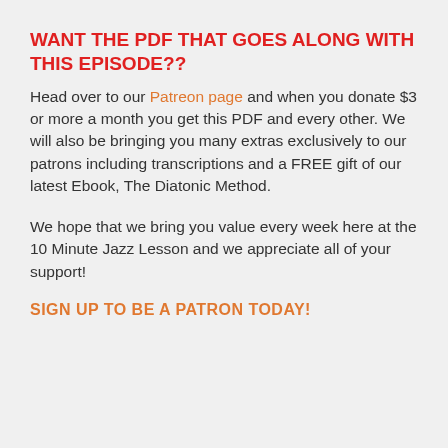WANT THE PDF THAT GOES ALONG WITH THIS EPISODE??
Head over to our Patreon page and when you donate $3 or more a month you get this PDF and every other. We will also be bringing you many extras exclusively to our patrons including transcriptions and a FREE gift of our latest Ebook, The Diatonic Method.
We hope that we bring you value every week here at the 10 Minute Jazz Lesson and we appreciate all of your support!
SIGN UP TO BE A PATRON TODAY!